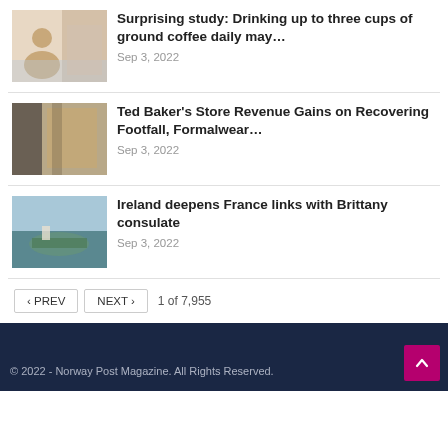Surprising study: Drinking up to three cups of ground coffee daily may… Sep 3, 2022
Ted Baker's Store Revenue Gains on Recovering Footfall, Formalwear… Sep 3, 2022
Ireland deepens France links with Brittany consulate Sep 3, 2022
< PREV   NEXT >   1 of 7,955
© 2022 - Norway Post Magazine. All Rights Reserved.